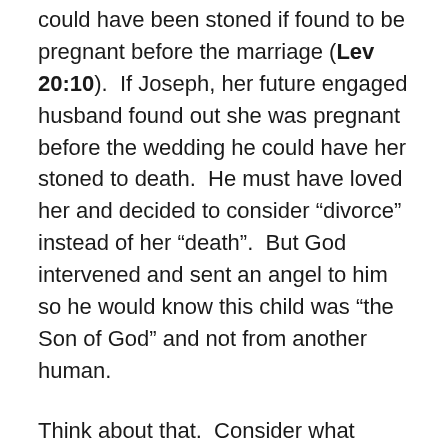could have been stoned if found to be pregnant before the marriage (Lev 20:10).  If Joseph, her future engaged husband found out she was pregnant before the wedding he could have her stoned to death.  He must have loved her and decided to consider “divorce” instead of her “death”.  But God intervened and sent an angel to him so he would know this child was “the Son of God” and not from another human.
Think about that.  Consider what would be said today on the internet if someone was claiming to be pregnant from the Holy Spirit and the claiming her child was the Son of God.  Can you imagine the pressure to get an abortion today?  What would they being saying about Mary today on social media? Can you imagine the wild rumors and gossiping that we could read about on the internet? What